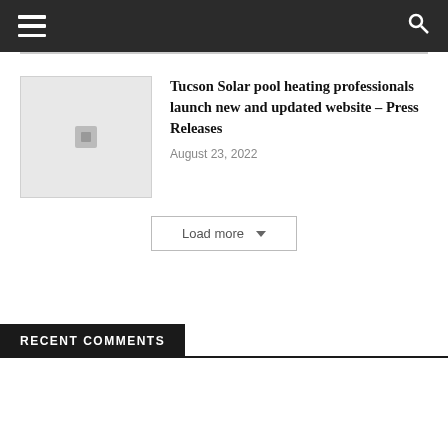[Figure (other): Thumbnail placeholder image with grey background and small icon]
Tucson Solar pool heating professionals launch new and updated website – Press Releases
August 23, 2022
Load more
RECENT COMMENTS